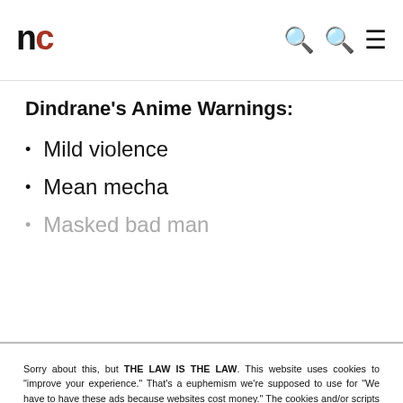nc
Dindrane's Anime Warnings:
Mild violence
Mean mecha
Masked bad man
Sorry about this, but THE LAW IS THE LAW. This website uses cookies to "improve your experience." That's a euphemism we're supposed to use for "We have to have these ads because websites cost money." The cookies and/or scripts we use are mostly from Google Analytics, AdSense, and YouTube. However we've instructed Google to anonymize any data that they collect. Just so you know. We'll assume you're ok with this, but you can opt-out if you wish. Just bear in mind, certain embeds and such might not work.<br /> <br /> Also, please be aware that when we link out to products, we may earn a commission for doing so. Because we're certainly not doing it for our health. See our privacy policy & terms of use for more info than you would ever want to know. - Privacy Policy & Terms of Use
Accept | Decline | Cookie Settings